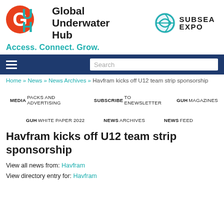[Figure (logo): Global Underwater Hub logo with GUH letters and Subsea Expo logo on right]
Access. Connect. Grow.
[Figure (screenshot): Dark blue navigation bar with hamburger menu and search box]
Home » News » News Archives » Havfram kicks off U12 team strip sponsorship
MEDIA PACKS AND ADVERTISING   SUBSCRIBE TO ENEWSLETTER   GUH MAGAZINES
GUH WHITE PAPER 2022   NEWS ARCHIVES   NEWS FEED
Havfram kicks off U12 team strip sponsorship
View all news from: Havfram
View directory entry for: Havfram